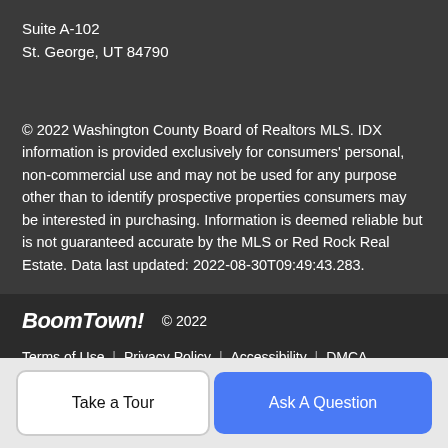Suite A-102
St. George, UT 84790
© 2022 Washington County Board of Realtors MLS. IDX information is provided exclusively for consumers' personal, non-commercial use and may not be used for any purpose other than to identify prospective properties consumers may be interested in purchasing. Information is deemed reliable but is not guaranteed accurate by the MLS or Red Rock Real Estate. Data last updated: 2022-08-30T09:49:43.283.
BoomTown! © 2022
Terms of Use | Privacy Policy | Accessibility | DMCA | Listings Sitemap
Take a Tour
Ask A Question